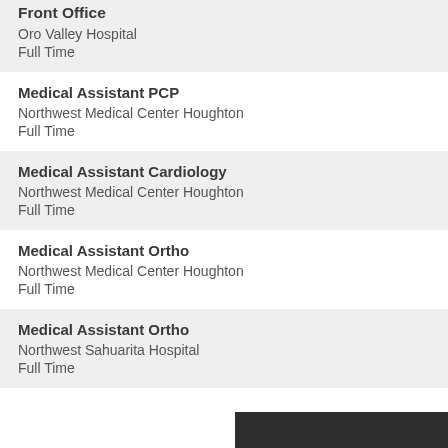Front Office
Oro Valley Hospital
Full Time
Medical Assistant PCP
Northwest Medical Center Houghton
Full Time
Medical Assistant Cardiology
Northwest Medical Center Houghton
Full Time
Medical Assistant Ortho
Northwest Medical Center Houghton
Full Time
Medical Assistant Ortho
Northwest Sahuarita Hospital
Full Time
▲ Get Email Updates for Jobs